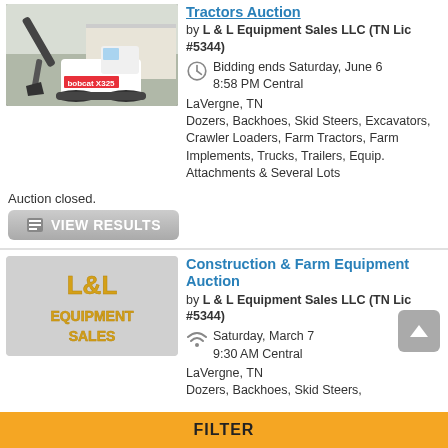[Figure (photo): Bobcat X325 mini excavator on a job site]
Tractors Auction
by L & L Equipment Sales LLC (TN Lic #5344)
Bidding ends Saturday, June 6 8:58 PM Central
LaVergne, TN
Dozers, Backhoes, Skid Steers, Excavators, Crawler Loaders, Farm Tractors, Farm Implements, Trucks, Trailers, Equip. Attachments & Several Lots
Auction closed.
VIEW RESULTS
[Figure (logo): L&L Equipment Sales logo with gold letters on gray background]
Construction & Farm Equipment Auction
by L & L Equipment Sales LLC (TN Lic #5344)
Saturday, March 7 9:30 AM Central
LaVergne, TN
Dozers, Backhoes, Skid Steers,
FILTER